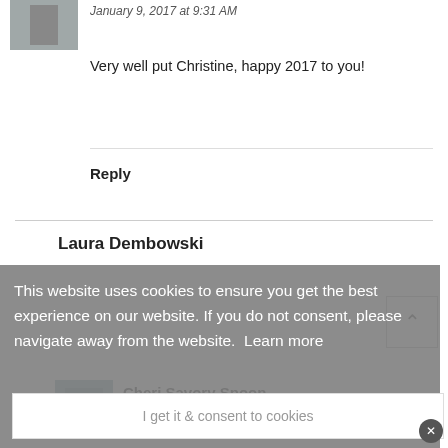January 9, 2017 at 9:31 AM
Very well put Christine, happy 2017 to you!
Reply
Laura Dembowski
is no
This website uses cookies to ensure you get the best experience on our website. If you do not consent, please navigate away from the website. Learn more
I get it & consent to cookies
Cheri Savory Spoon